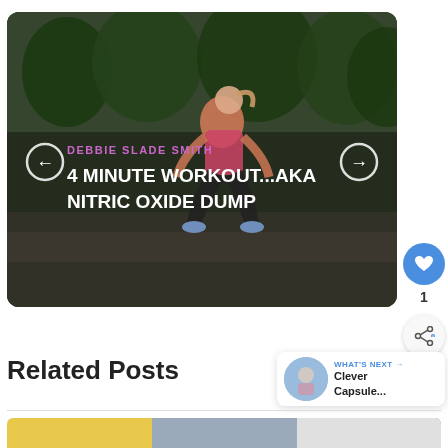[Figure (screenshot): Video thumbnail showing a woman doing squats outdoors in a park, with overlay text for a workout video by Debbie Slade Smith titled '4 MINUTE WORKOUT...AKA NITRIC OXIDE DUMP'. Navigation arrows on left and right sides.]
DEBBIE SLADE SMITH
4 MINUTE WORKOUT...AKA NITRIC OXIDE DUMP
Related Posts
WHAT'S NEXT → Clever Capsule...